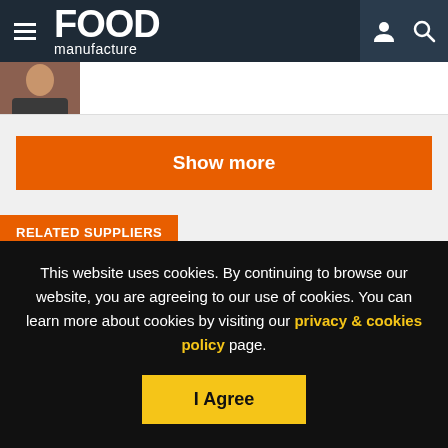FOOD manufacture
[Figure (photo): Partial photo of a person visible at the top left of the content area]
Show more
RELATED SUPPLIERS
Gold&Green Food
This website uses cookies. By continuing to browse our website, you are agreeing to our use of cookies. You can learn more about cookies by visiting our privacy & cookies policy page.
I Agree